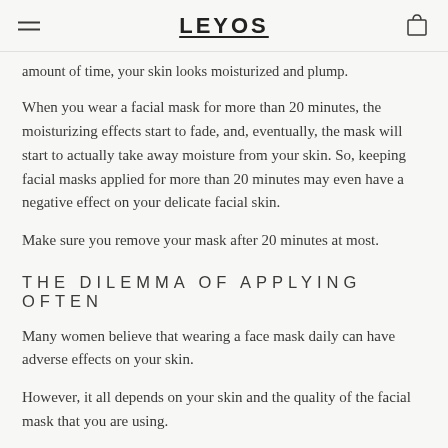LEYOS
amount of time, your skin looks moisturized and plump.
When you wear a facial mask for more than 20 minutes, the moisturizing effects start to fade, and, eventually, the mask will start to actually take away moisture from your skin. So, keeping facial masks applied for more than 20 minutes may even have a negative effect on your delicate facial skin.
Make sure you remove your mask after 20 minutes at most.
THE DILEMMA OF APPLYING OFTEN
Many women believe that wearing a face mask daily can have adverse effects on your skin.
However, it all depends on your skin and the quality of the facial mask that you are using.